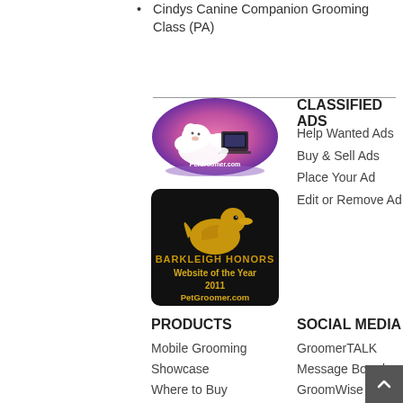Cindys Canine Companion Grooming Class (PA)
[Figure (illustration): Oval-shaped logo for PetGroomer.com featuring a white fluffy dog with a laptop on a pink/purple gradient background]
[Figure (logo): Barkleigh Honors Website of the Year 2011 PetGroomer.com award badge on black background with gold duck logo and gold text]
CLASSIFIED ADS
Help Wanted Ads
Buy & Sell Ads
Place Your Ad
Edit or Remove Ad
PRODUCTS
Mobile Grooming Showcase
Where to Buy Products
SOCIAL MEDIA
GroomerTALK
Message Board
GroomWise Blogs
Groomer Surveys